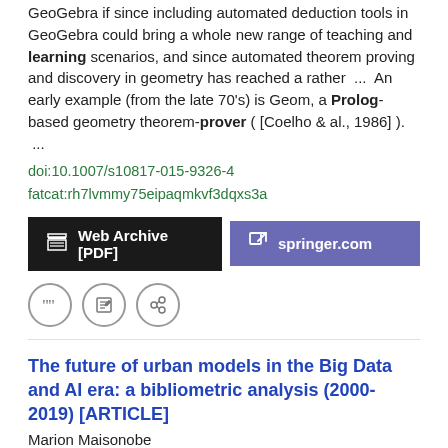GeoGebra if since including automated deduction tools in GeoGebra could bring a whole new range of teaching and learning scenarios, and since automated theorem proving and discovery in geometry has reached a rather  ...  An early example (from the late 70's) is Geom, a Prolog-based geometry theorem-prover ( [Coelho & al., 1986] ).  ...
doi:10.1007/s10817-015-9326-4
fatcat:rh7lvmmy75eipaqmkvf3dqxs3a
Web Archive [PDF]   springer.com
The future of urban models in the Big Data and AI era: a bibliometric analysis (2000-2019) [ARTICLE]
Marion Maisonobe
2019 arXiv  PRE-PRINT
We consider two areas in urban research: one, covering the academic research dealing with transportation systems and the other, with water systems.  ...  OR "Random Forest$" OR "Genetic Algorithm$" OR "Bayes* Network$" OR "belief network$" OR "directed acyclic graphic*" OR "supervised learn*" OR